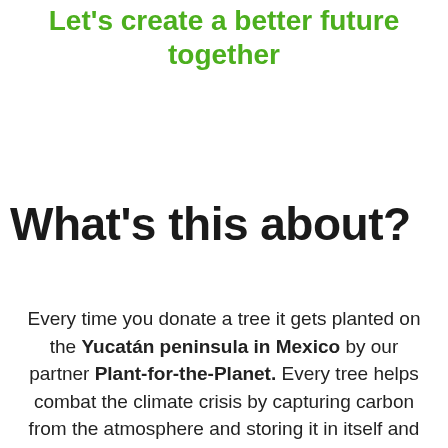Let's create a better future together
What's this about?
Every time you donate a tree it gets planted on the Yucatán peninsula in Mexico by our partner Plant-for-the-Planet. Every tree helps combat the climate crisis by capturing carbon from the atmosphere and storing it in itself and the soil. For more information on Plant-for-the-Planet or the planting project